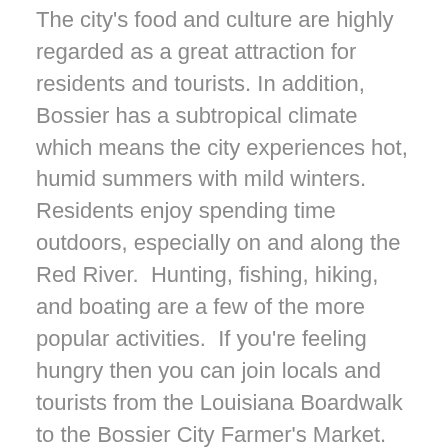The city's food and culture are highly regarded as a great attraction for residents and tourists. In addition, Bossier has a subtropical climate which means the city experiences hot, humid summers with mild winters.  Residents enjoy spending time outdoors, especially on and along the Red River.  Hunting, fishing, hiking, and boating are a few of the more popular activities.  If you're feeling hungry then you can join locals and tourists from the Louisiana Boardwalk to the Bossier City Farmer's Market.
CONTACT US TODAY
The city's growth is due to hardworking men and